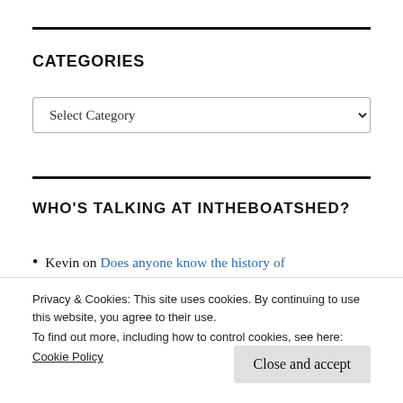CATEGORIES
Select Category
WHO'S TALKING AT INTHEBOATSHED?
Kevin on Does anyone know the history of
Privacy & Cookies: This site uses cookies. By continuing to use this website, you agree to their use.
To find out more, including how to control cookies, see here:
Cookie Policy
Close and accept